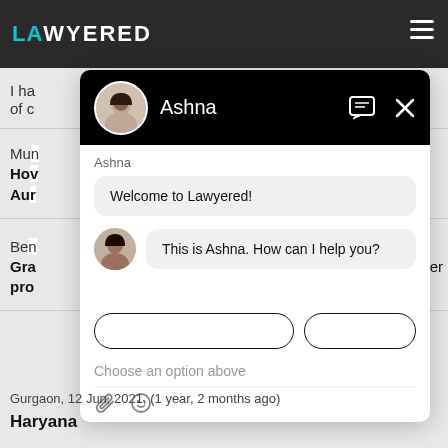[Figure (screenshot): Screenshot of Lawyered website with a chat widget overlay. The website has a dark top navigation bar with the Lawyered logo. A chat panel is overlaid showing a conversation with 'Ashna'. The chat shows two messages: 'Welcome to Lawyered!' and 'This is Ashna. How can I help you?' with input area showing 'Choose an option above' placeholder text.]
Ashna
Welcome to Lawyered!
This is Ashna. How can I help you?
Choose an option above
Gurgaon,  12 Jun, 2021,  (1 year, 2 months ago)
Haryana